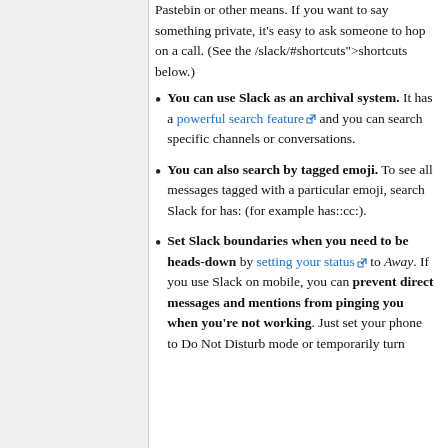Pastebin or other means. If you want to say something private, it's easy to ask someone to hop on a call. (See the /slack/#shortcuts">shortcuts below.)
You can use Slack as an archival system. It has a powerful search feature and you can search specific channels or conversations.
You can also search by tagged emoji. To see all messages tagged with a particular emoji, search Slack for has: (for example has::cc:).
Set Slack boundaries when you need to be heads-down by setting your status to Away. If you use Slack on mobile, you can prevent direct messages and mentions from pinging you when you're not working. Just set your phone to Do Not Disturb mode or temporarily turn